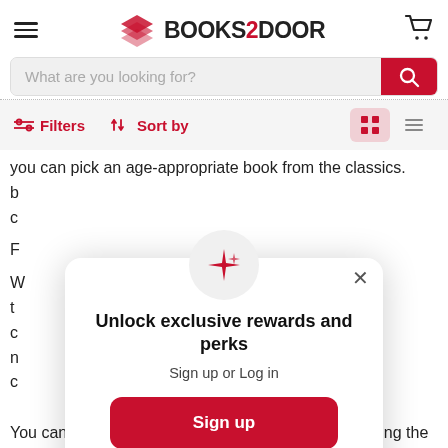[Figure (screenshot): Books2Door website header with hamburger menu, logo, and cart icon]
[Figure (screenshot): Search bar with placeholder 'What are you looking for?' and red search button]
[Figure (screenshot): Filter and Sort by toolbar with grid and list view icons]
you can pick an age-appropriate book from the classics.
[Figure (infographic): Modal popup with sparkle icon, title 'Unlock exclusive rewards and perks', sign up or log in prompt, Sign up button, and Sign in link]
You can also search specific book titles by simply using the